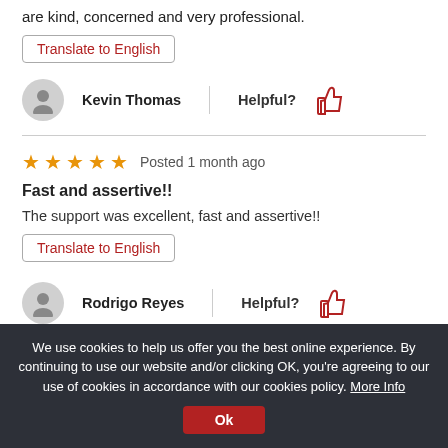are kind, concerned and very professional.
Translate to English
Kevin Thomas   Helpful?
★★★★★  Posted 1 month ago
Fast and assertive!!
The support was excellent, fast and assertive!!
Translate to English
Rodrigo Reyes   Helpful?
We use cookies to help us offer you the best online experience. By continuing to use our website and/or clicking OK, you're agreeing to our use of cookies in accordance with our cookies policy. More Info Ok